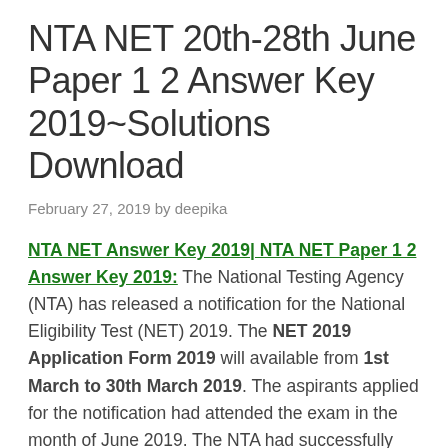NTA NET 20th-28th June Paper 1 2 Answer Key 2019~Solutions Download
February 27, 2019 by deepika
NTA NET Answer Key 2019| NTA NET Paper 1 2 Answer Key 2019: The National Testing Agency (NTA) has released a notification for the National Eligibility Test (NET) 2019. The NET 2019 Application Form 2019 will available from 1st March to 30th March 2019. The aspirants applied for the notification had attended the exam in the month of June 2019. The NTA had successfully conducted NET 2019 from 20th June to 28th June 2019. The candidates attended the exam are looking for the